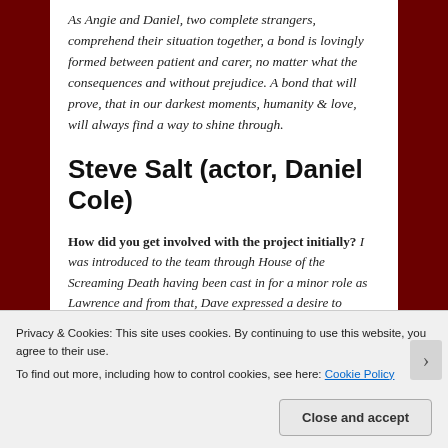As Angie and Daniel, two complete strangers, comprehend their situation together, a bond is lovingly formed between patient and carer, no matter what the consequences and without prejudice. A bond that will prove, that in our darkest moments, humanity & love, will always find a way to shine through.
Steve Salt (actor, Daniel Cole)
How did you get involved with the project initially? I was introduced to the team through House of the Screaming Death having been cast in for a minor role as Lawrence and from that, Dave expressed a desire to collaborate again and he asked me would I be interested in a short film and the process snowballed
Privacy & Cookies: This site uses cookies. By continuing to use this website, you agree to their use.
To find out more, including how to control cookies, see here: Cookie Policy
Close and accept